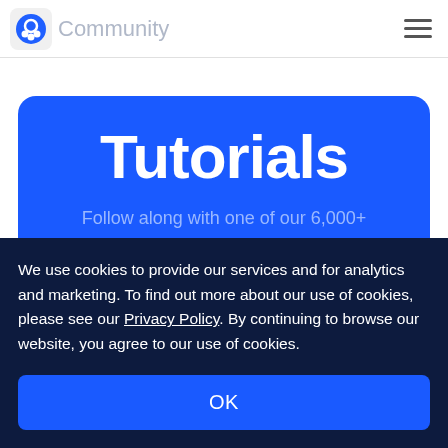Community
Tutorials
Follow along with one of our 6,000+ development and sysadmin tutorials.
We use cookies to provide our services and for analytics and marketing. To find out more about our use of cookies, please see our Privacy Policy. By continuing to browse our website, you agree to our use of cookies.
OK